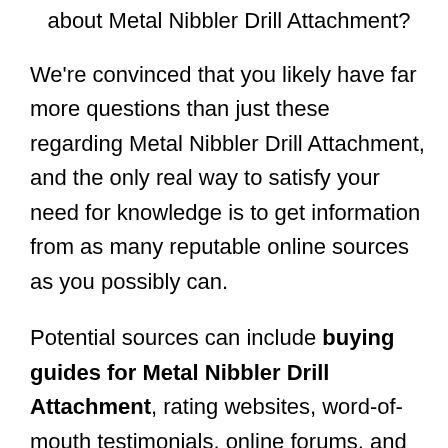about Metal Nibbler Drill Attachment?
We're convinced that you likely have far more questions than just these regarding Metal Nibbler Drill Attachment, and the only real way to satisfy your need for knowledge is to get information from as many reputable online sources as you possibly can.
Potential sources can include buying guides for Metal Nibbler Drill Attachment, rating websites, word-of-mouth testimonials, online forums, and product reviews. Thorough and